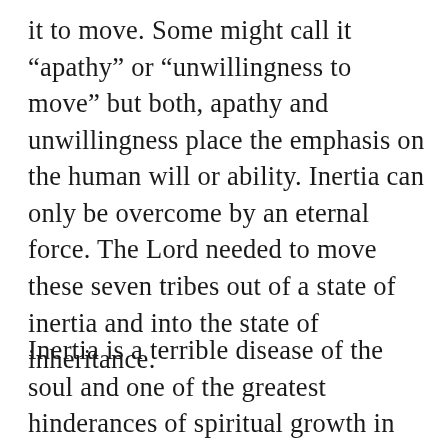it to move. Some might call it “apathy” or “unwillingness to move” but both, apathy and unwillingness place the emphasis on the human will or ability. Inertia can only be overcome by an eternal force. The Lord needed to move these seven tribes out of a state of inertia and into the state of inheritance.
Inertia is a terrible disease of the soul and one of the greatest hinderances of spiritual growth in Christ. So, what is